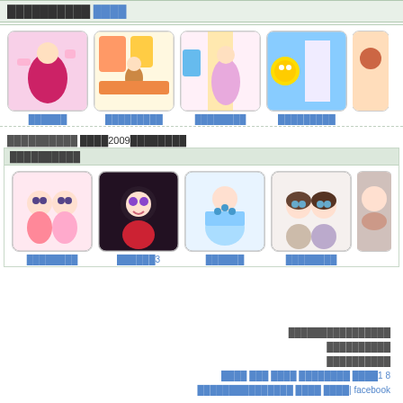██████████ ████
[Figure (screenshot): Grid of girl dress-up game thumbnails with Thai text labels: ██████, █████████, ████████, █████████]
██████████ ████2009████████
██████████
[Figure (screenshot): Grid of anime-style game thumbnails with Thai text labels: ████████, ██████3, ██████, ████████]
████████████████ / ██████████ / ██████████ / ████ ███ ████ ████████ ████1 8 / ███████████████ ████ ████| facebook